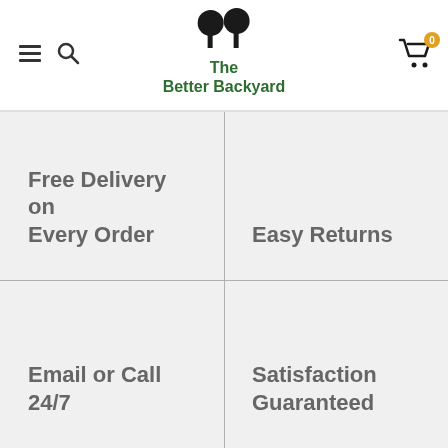The Better Backyard
Free Delivery on Every Order
Easy Returns
Email or Call 24/7
Satisfaction Guaranteed